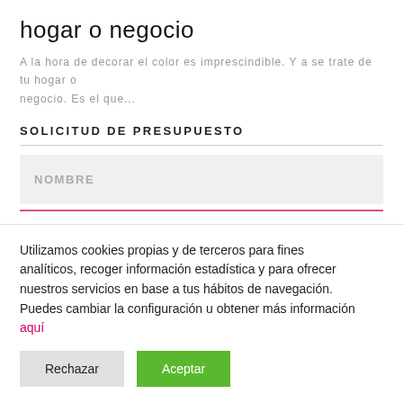hogar o negocio
A la hora de decorar el color es imprescindible. Ya se trate de tu hogar o negocio. Es el que...
SOLICITUD DE PRESUPUESTO
NOMBRE
Utilizamos cookies propias y de terceros para fines analíticos, recoger información estadística y para ofrecer nuestros servicios en base a tus hábitos de navegación. Puedes cambiar la configuración u obtener más información aquí
Rechazar
Aceptar